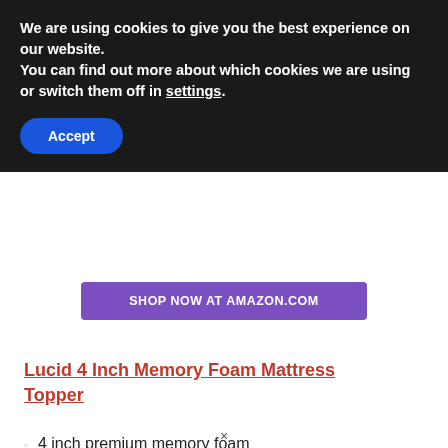We are using cookies to give you the best experience on our website.
You can find out more about which cookies we are using or switch them off in settings.
Accept
SHOP NOW AT AMAZON.COM
Lucid 4 Inch Memory Foam Mattress Topper
4 inch premium memory foam
Uses ventilated design to promote air flow and reduce
[Figure (photo): Advertisement image showing cargo being loaded onto a Southwest Airlines aircraft, with a gray overlay panel on the right reading 'WITHOUT REGARD TO POLITICAL RELIGION OR ABILITY TO PAY']
×